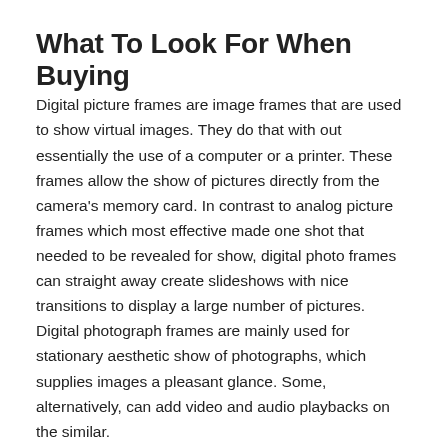What To Look For When Buying
Digital picture frames are image frames that are used to show virtual images. They do that with out essentially the use of a computer or a printer. These frames allow the show of pictures directly from the camera's memory card. In contrast to analog picture frames which most effective made one shot that needed to be revealed for show, digital photo frames can straight away create slideshows with nice transitions to display a large number of pictures. Digital photograph frames are mainly used for stationary aesthetic show of photographs, which supplies images a pleasant glance. Some, alternatively, can add video and audio playbacks on the similar.
Those frames are available in several styles and sizes and feature numerous features that the user must believe prior to buying. There's a range of virtual photo frames designed through quite a lot of corporations; some who use Wi-Fi